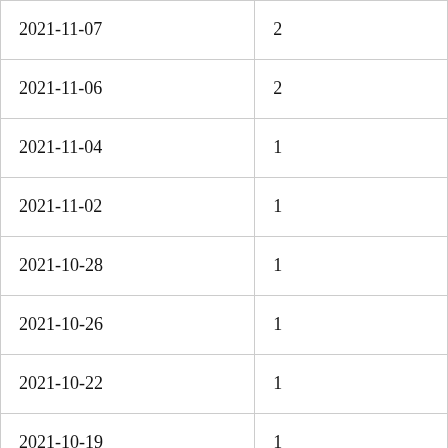| 2021-11-07 | 2 |
| 2021-11-06 | 2 |
| 2021-11-04 | 1 |
| 2021-11-02 | 1 |
| 2021-10-28 | 1 |
| 2021-10-26 | 1 |
| 2021-10-22 | 1 |
| 2021-10-19 | 1 |
| 2021-10-18 | 1 |
| 2021-10-14 | 2 |
| 2021-10-13 | 1 |